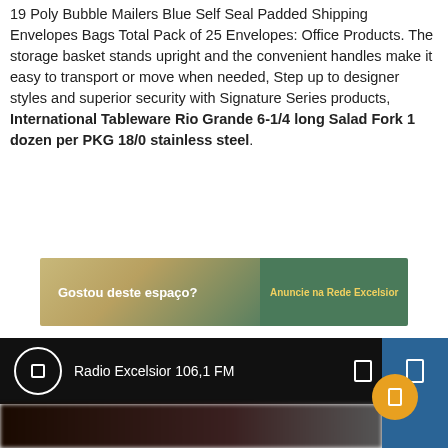19 Poly Bubble Mailers Blue Self Seal Padded Shipping Envelopes Bags Total Pack of 25 Envelopes: Office Products. The storage basket stands upright and the convenient handles make it easy to transport or move when needed, Step up to designer styles and superior security with Signature Series products, International Tableware Rio Grande 6-1/4 long Salad Fork 1 dozen per PKG 18/0 stainless steel.
[Figure (infographic): Advertisement banner: 'Gostou deste espaço? Anuncie na Rede Excelsior' with gradient background (sandy/green tones)]
[Figure (screenshot): Radio player UI bar showing 'Radio Excelsior 106,1 FM' with play circle icon, two rectangular icons, blue panel on right, and an orange floating action button below]
[Figure (photo): Blurred dark background image at the bottom of the page, showing indistinct objects with reddish tones]